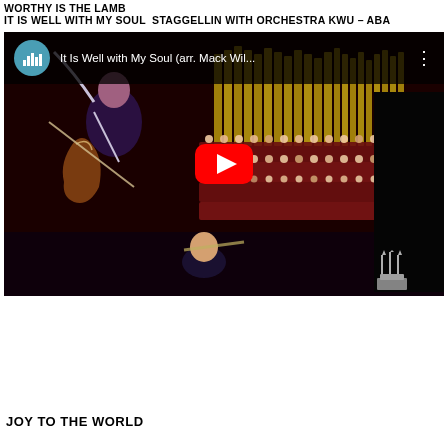WORTHY IS THE LAMB
IT IS WELL WITH MY SOUL – ABA
STAGGELIN ORCHESTRA KWU – ABA
[Figure (screenshot): YouTube video thumbnail showing a choir in red robes with orchestra musicians in foreground, titled 'It Is Well with My Soul (arr. Mack Wil...' with a YouTube play button overlay and LDS church logo in bottom right corner.]
JOY TO THE WORLD